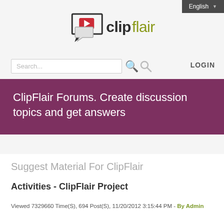English
[Figure (logo): ClipFlair logo with speech bubble icon containing a red play button square, followed by text 'clip' in dark and 'flair' in olive/yellow-green color]
Search...
LOGIN
ClipFlair Forums. Create discussion topics and get answers
Suggest Material For ClipFlair
Activities - ClipFlair Project
Viewed 7329660 Time(S), 694 Post(S), 11/20/2012 3:15:44 PM - By Admin